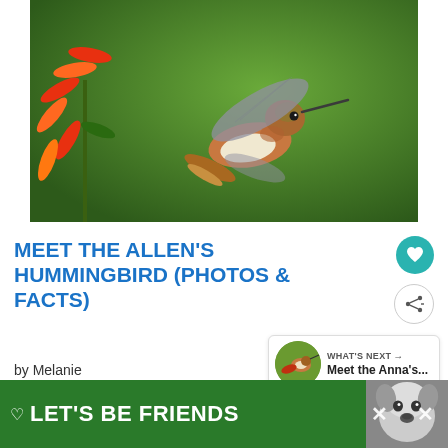[Figure (photo): A hummingbird hovering in mid-air next to bright orange-red flowers, with a green blurred background. The bird has a white chest, rufous-brown sides, and spread wings.]
MEET THE ALLEN'S HUMMINGBIRD (PHOTOS & FACTS)
by Melanie
[Figure (photo): WHAT'S NEXT → Meet the Anna's... — small thumbnail image of a hummingbird with red flower]
[Figure (screenshot): LET'S BE FRIENDS — green advertisement banner with husky dog image]